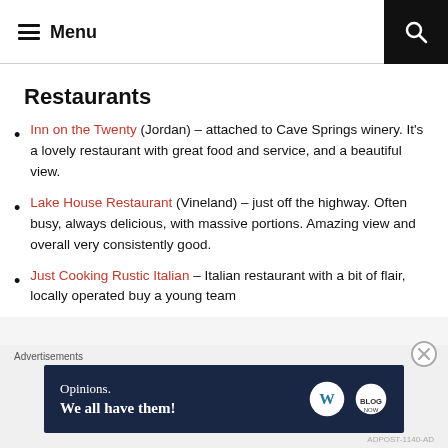Menu
Restaurants
Inn on the Twenty (Jordan) – attached to Cave Springs winery. It's a lovely restaurant with great food and service, and a beautiful view.
Lake House Restaurant (Vineland) – just off the highway. Often busy, always delicious, with massive portions. Amazing view and overall very consistently good.
Just Cooking Rustic Italian – Italian restaurant with a bit of flair, locally operated buy a young team
[Figure (infographic): Dark blue advertisement banner with text 'Opinions. We all have them!' and WordPress and BLOG NOW logos on the right.]